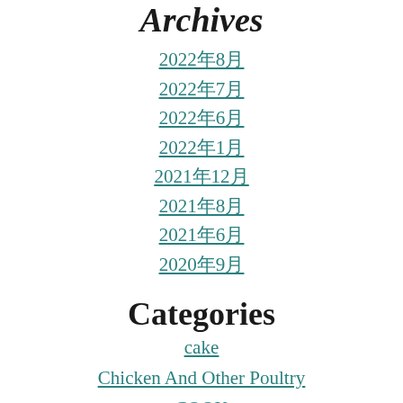Archives
2022年8月
2022年7月
2022年6月
2022年1月
2021年12月
2021年8月
2021年6月
2020年9月
Categories
cake
Chicken And Other Poultry
COOK
drink
Fish